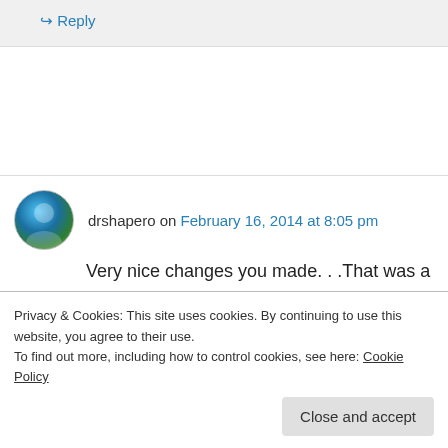↳ Reply
drshapero on February 16, 2014 at 8:05 pm
Very nice changes you made. . .That was a blogful.
Privacy & Cookies: This site uses cookies. By continuing to use this website, you agree to their use.
To find out more, including how to control cookies, see here: Cookie Policy
Close and accept